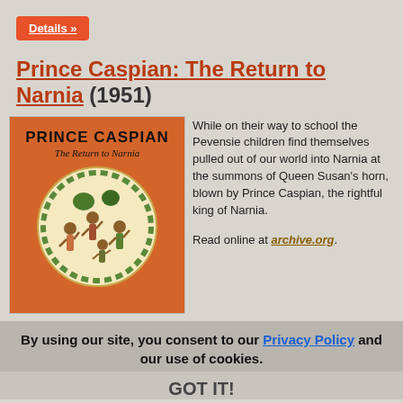Details »
Prince Caspian: The Return to Narnia (1951)
[Figure (illustration): Book cover of Prince Caspian: The Return to Narnia. Orange background with bold black title text 'PRINCE CASPIAN' and italic subtitle 'The Return to Narnia'. A circular illustration shows children and figures dancing with foliage.]
While on their way to school the Pevensie children find themselves pulled out of our world into Narnia at the summons of Queen Susan's horn, blown by Prince Caspian, the rightful king of Narnia.
Read online at archive.org.
By using our site, you consent to our Privacy Policy and our use of cookies.
GOT IT!